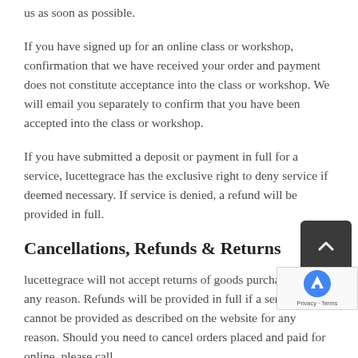us as soon as possible.
If you have signed up for an online class or workshop, confirmation that we have received your order and payment does not constitute acceptance into the class or workshop. We will email you separately to confirm that you have been accepted into the class or workshop.
If you have submitted a deposit or payment in full for a service, lucettegrace has the exclusive right to deny service if deemed necessary. If service is denied, a refund will be provided in full.
Cancellations, Refunds & Returns
lucettegrace will not accept returns of goods purchased for any reason. Refunds will be provided in full if a service cannot be provided as described on the website for any reason. Should you need to cancel orders placed and paid for online, please call